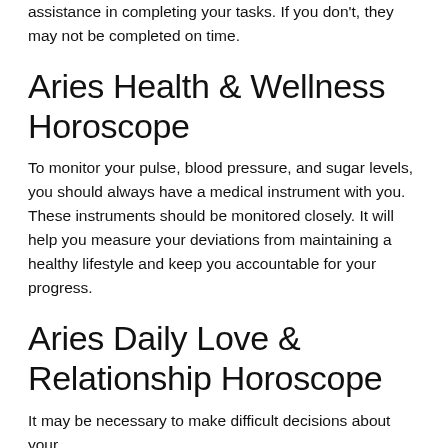assistance in completing your tasks. If you don't, they may not be completed on time.
Aries Health & Wellness Horoscope
To monitor your pulse, blood pressure, and sugar levels, you should always have a medical instrument with you. These instruments should be monitored closely. It will help you measure your deviations from maintaining a healthy lifestyle and keep you accountable for your progress.
Aries Daily Love & Relationship Horoscope
It may be necessary to make difficult decisions about your